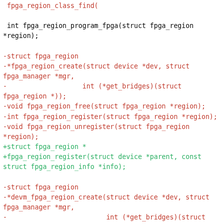fpga_region_class_find(

 int fpga_region_program_fpga(struct fpga_region
*region);

-struct fpga_region
-*fpga_region_create(struct device *dev, struct fpga_manager *mgr,
-                   int (*get_bridges)(struct fpga_region *));
-void fpga_region_free(struct fpga_region *region);
-int fpga_region_register(struct fpga_region *region);
-void fpga_region_unregister(struct fpga_region
*region);
+struct fpga_region *
+fpga_region_register(struct device *parent, const struct fpga_region_info *info);

-struct fpga_region
-*devm_fpga_region_create(struct device *dev, struct fpga_manager *mgr,
-                         int (*get_bridges)(struct fpga_region *));
+struct fpga_region *
+fpga_region_register_simple(struct device *parent, struct fpga_manager *mgr,
+                            int (*get_bridges)(struct fpga_region *));
+void fpga_region_unregister(struct fpga_region
*region);